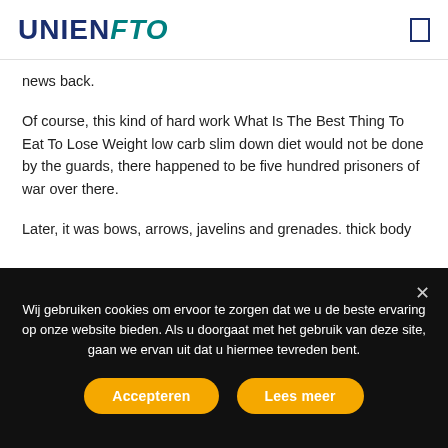UNIENFTO
news back.
Of course, this kind of hard work What Is The Best Thing To Eat To Lose Weight low carb slim down diet would not be done by the guards, there happened to be five hundred prisoners of war over there.
Later, it was bows, arrows, javelins and grenades. thick body
Wij gebruiken cookies om ervoor te zorgen dat we u de beste ervaring op onze website bieden. Als u doorgaat met het gebruik van deze site, gaan we ervan uit dat u hiermee tevreden bent.
Accepteren
Lees meer